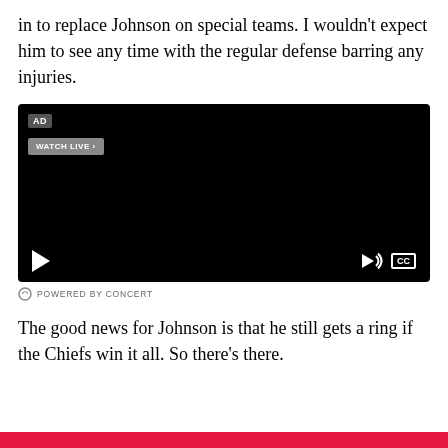in to replace Johnson on special teams. I wouldn't expect him to see any time with the regular defense barring any injuries.
[Figure (screenshot): Embedded video player with black background, AD label, WATCH LIVE button, play button, volume icon, and CC button. Powered by Concert attribution below.]
POWERED BY CONCERT
The good news for Johnson is that he still gets a ring if the Chiefs win it all. So there's there.